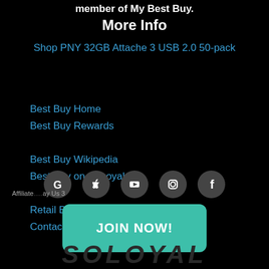member of My Best Buy.
More Info
Shop PNY 32GB Attache 3 USB 2.0 50-pack
Best Buy Home
Best Buy Rewards
Best Buy Wikipedia
Best Buy on SoLoyal
Retail Brands on SoLoyal
Contact SoLoyal
[Figure (infographic): Social media icon circles: Google, Apple, YouTube, Instagram, Facebook]
JOIN NOW!
Affiliate ... ay Us 3
SOLOYAL